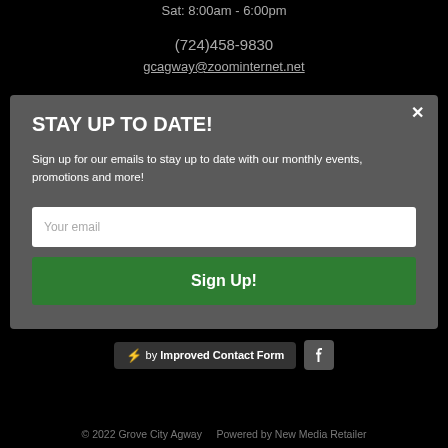Sat: 8:00am - 6:00pm
(724)458-9830
gcagway@zoominternet.net
STAY UP TO DATE!
Sign up for our emails to stay up to date with our monthly events, promotions and more!
Your email
Sign Up!
⚡ by Improved Contact Form
© 2022 Grove City Agway    Powered by New Media Retailer